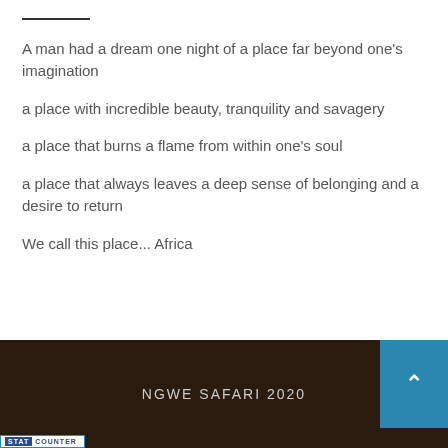A man had a dream one night of a place far beyond one's imagination

a place with incredible beauty, tranquility and savagery

a place that burns a flame from within one's soul

a place that always leaves a deep sense of belonging and a desire to return

We call this place... Africa
NGWE SAFARI 2020